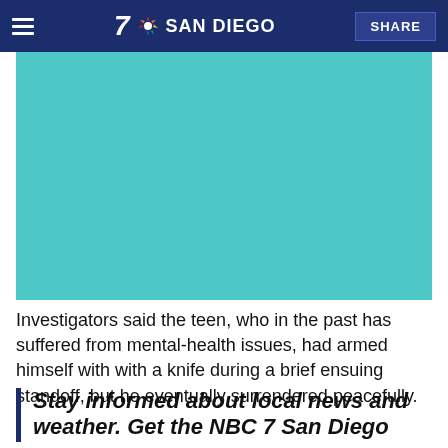NBC 7 San Diego
[Figure (screenshot): Teal/cyan colored video placeholder image]
Investigators said the teen, who in the past has suffered from mental-health issues, had armed himself with with a knife during a brief ensuing standoff, but he eventually surrendered peacefully.
Stay informed about local news and weather. Get the NBC 7 San Diego